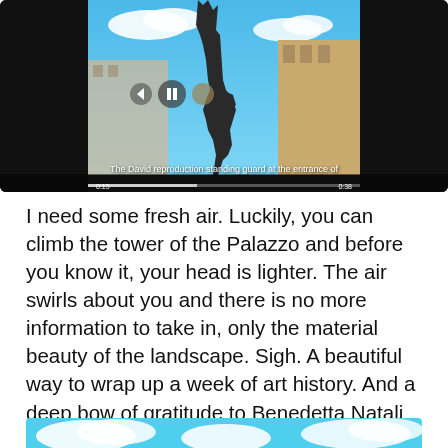[Figure (screenshot): Video player showing the David reproduction statue with blue sky and Italian buildings in background. Caption at bottom reads 'The David reproduction standing guard at the entrance of'. Video controls visible.]
The David reproduction standing guard at the entrance of
I need some fresh air. Luckily, you can climb the tower of the Palazzo and before you know it, your head is lighter. The air swirls about you and there is no more information to take in, only the material beauty of the landscape. Sigh. A beautiful way to wrap up a week of art history. And a deep bow of gratitude to Benedetta Natali for making the city come alive for me.
[Figure (photo): Bottom portion of an image showing a blue sky with white clouds, partially visible at the bottom of the page.]